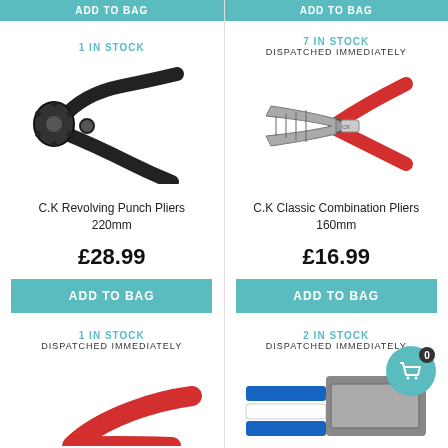ADD TO BAG
ADD TO BAG
1 IN STOCK
7 IN STOCK
DISPATCHED IMMEDIATELY
[Figure (photo): C.K Revolving Punch Pliers 220mm - black metal revolving punch pliers]
[Figure (photo): C.K Classic Combination Pliers 160mm - combination pliers with red handles]
C.K Revolving Punch Pliers 220mm
C.K Classic Combination Pliers 160mm
£28.99
£16.99
ADD TO BAG
ADD TO BAG
1 IN STOCK
DISPATCHED IMMEDIATELY
2 IN STOCK
DISPATCHED IMMEDIATELY
[Figure (photo): Partial view of red-handled pliers at bottom left]
[Figure (photo): Partial view of a tool at bottom right]